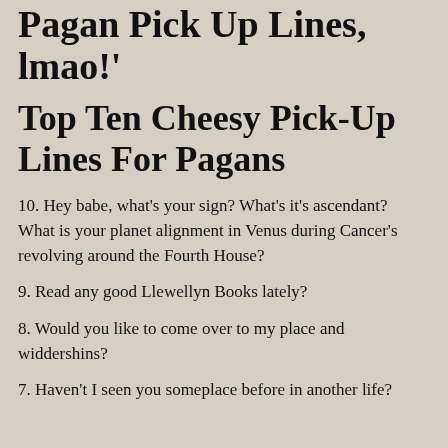Pagan Pick Up Lines, lmao!'
Top Ten Cheesy Pick-Up Lines For Pagans
10. Hey babe, what's your sign? What's it's ascendant? What is your planet alignment in Venus during Cancer's revolving around the Fourth House?
9. Read any good Llewellyn Books lately?
8. Would you like to come over to my place and widdershins?
7. Haven't I seen you someplace before in another life?